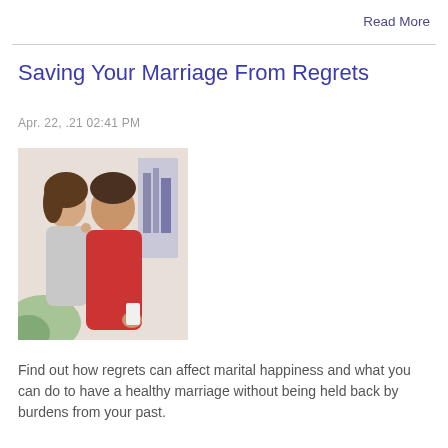Read More
Saving Your Marriage From Regrets
Apr. 22, .21 02:41 PM
[Figure (photo): A couple appearing distressed — a woman resting her head on a man's shoulder from behind while he looks down, in a kitchen setting.]
Find out how regrets can affect marital happiness and what you can do to have a healthy marriage without being held back by burdens from your past.